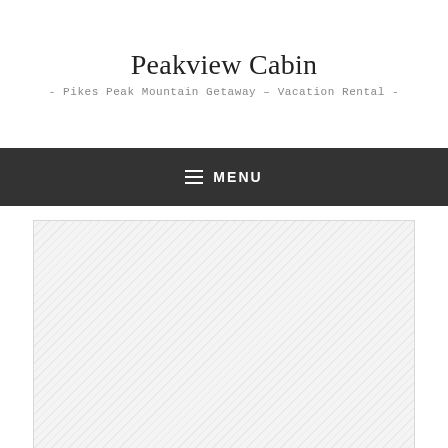Peakview Cabin
- Pikes Peak Mountain Getaway – Vacation Rental -
≡ MENU
[Figure (other): Placeholder image area with diagonal hatching pattern, representing a loading or missing image for the Peakview Cabin vacation rental website.]